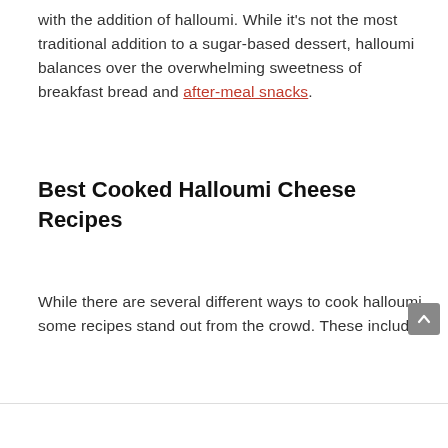with the addition of halloumi. While it's not the most traditional addition to a sugar-based dessert, halloumi balances over the overwhelming sweetness of breakfast bread and after-meal snacks.
Best Cooked Halloumi Cheese Recipes
While there are several different ways to cook halloumi, some recipes stand out from the crowd. These include: